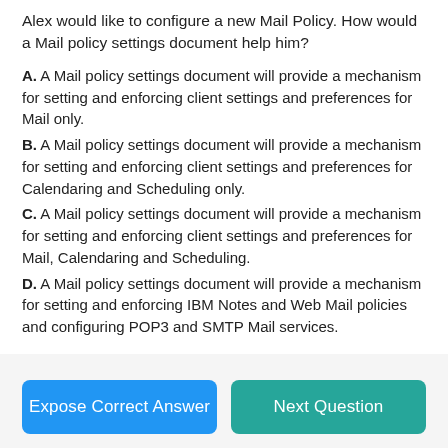Alex would like to configure a new Mail Policy. How would a Mail policy settings document help him?
A. A Mail policy settings document will provide a mechanism for setting and enforcing client settings and preferences for Mail only.
B. A Mail policy settings document will provide a mechanism for setting and enforcing client settings and preferences for Calendaring and Scheduling only.
C. A Mail policy settings document will provide a mechanism for setting and enforcing client settings and preferences for Mail, Calendaring and Scheduling.
D. A Mail policy settings document will provide a mechanism for setting and enforcing IBM Notes and Web Mail policies and configuring POP3 and SMTP Mail services.